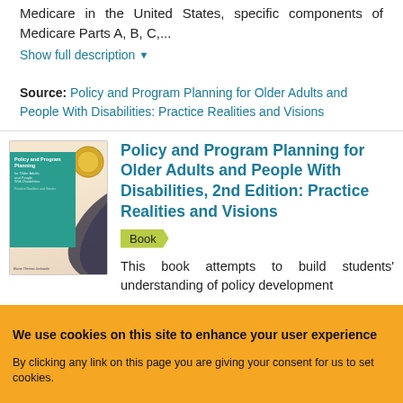Medicare in the United States, specific components of Medicare Parts A, B, C,...
Show full description ▾
Source: Policy and Program Planning for Older Adults and People With Disabilities: Practice Realities and Visions
[Figure (photo): Book cover of Policy and Program Planning for Older Adults and People With Disabilities, 2nd Edition]
Policy and Program Planning for Older Adults and People With Disabilities, 2nd Edition: Practice Realities and Visions
Book
This book attempts to build students' understanding of policy development
We use cookies on this site to enhance your user experience
By clicking any link on this page you are giving your consent for us to set cookies.